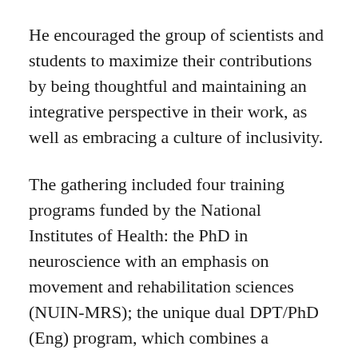He encouraged the group of scientists and students to maximize their contributions by being thoughtful and maintaining an integrative perspective in their work, as well as embracing a culture of inclusivity.
The gathering included four training programs funded by the National Institutes of Health: the PhD in neuroscience with an emphasis on movement and rehabilitation sciences (NUIN-MRS); the unique dual DPT/PhD (Eng) program, which combines a doctoral degree in physical therapy with PhD training in engineering; the Pathophysiology and Rehabilitation of Neural Dysfunction (PRND) T32 program; and the Interdisciplinary Rehabilitation Engineering Career...